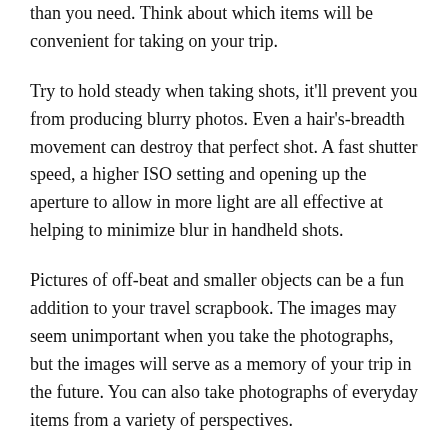than you need. Think about which items will be convenient for taking on your trip.
Try to hold steady when taking shots, it'll prevent you from producing blurry photos. Even a hair's-breadth movement can destroy that perfect shot. A fast shutter speed, a higher ISO setting and opening up the aperture to allow in more light are all effective at helping to minimize blur in handheld shots.
Pictures of off-beat and smaller objects can be a fun addition to your travel scrapbook. The images may seem unimportant when you take the photographs, but the images will serve as a memory of your trip in the future. You can also take photographs of everyday items from a variety of perspectives.
To enhance your skills, consider reaching out to other photographers and perhaps joining a club. While you do